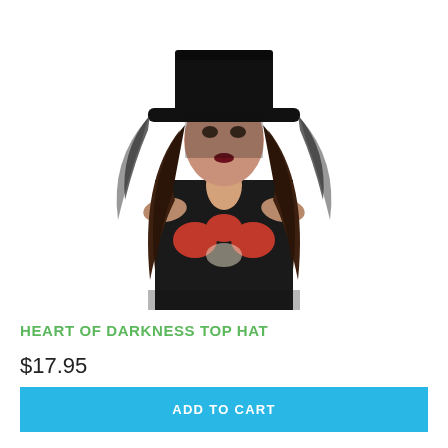[Figure (photo): Woman wearing a black top hat with black lace/veil and a black dress with red roses embroidery, gothic style product photo on white background]
HEART OF DARKNESS TOP HAT
$17.95
ADD TO CART
[Figure (photo): Partial view of a second product — a black hat — cropped at the bottom of the page]